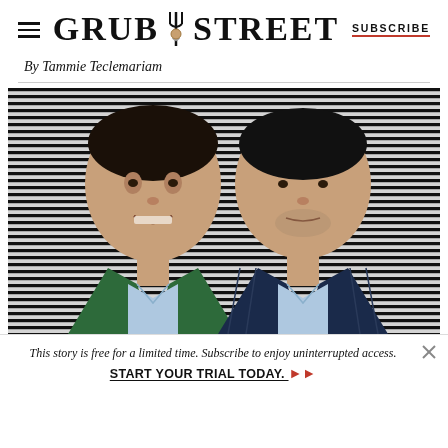GRUB STREET | SUBSCRIBE
By Tammie Teclemariam
[Figure (photo): Two men standing side by side against a black-and-white horizontal striped background. The man on the left wears a green blazer and light blue shirt and is smiling. The man on the right wears a dark navy pinstripe suit with a light blue shirt.]
This story is free for a limited time. Subscribe to enjoy uninterrupted access. START YOUR TRIAL TODAY. ▶▶